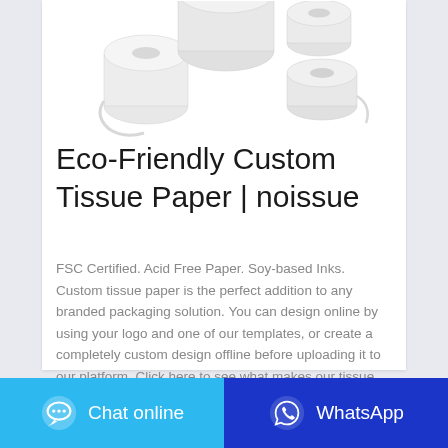[Figure (photo): Multiple rolls of white tissue/toilet paper arranged in a group on a white background]
Eco-Friendly Custom Tissue Paper | noissue
FSC Certified. Acid Free Paper. Soy-based Inks. Custom tissue paper is the perfect addition to any branded packaging solution. You can design online by using your logo and one of our templates, or create a completely custom design offline before uploading it to our platform. Click here to see what makes our tissue paper eco-friendly.
Chat online | WhatsApp